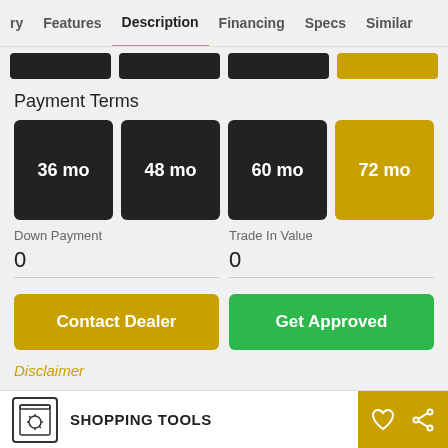ry  Features  Description  Financing  Specs  Similar
Payment Terms
36 mo
48 mo
60 mo
72 mo
Down Payment
0
Trade In Value
0
Contact Dealer
Get Approved
Disclaimer
SHOPPING TOOLS